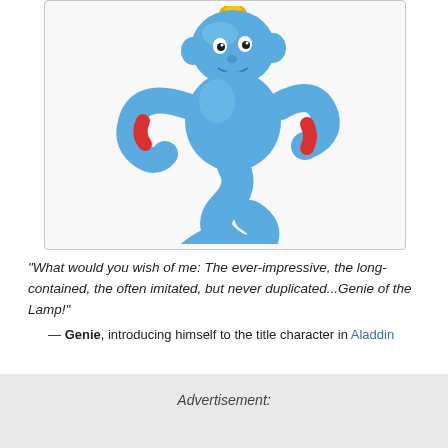[Figure (illustration): Blue cartoon genie character (Disney Aladdin style) with golden earring, red wristband, swirling tail instead of legs, on a light grey background inside a rounded-corner bordered box.]
"What would you wish of me: The ever-impressive, the long-contained, the often imitated, but never duplicated...Genie of the Lamp!"
— Genie, introducing himself to the title character in Aladdin
Advertisement: